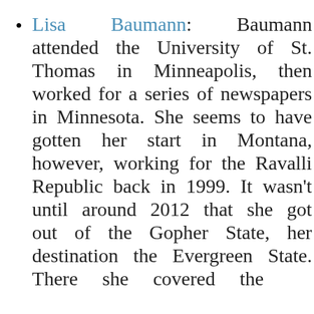Lisa Baumann: Baumann attended the University of St. Thomas in Minneapolis, then worked for a series of newspapers in Minnesota. She seems to have gotten her start in Montana, however, working for the Ravalli Republic back in 1999. It wasn't until around 2012 that she got out of the Gopher State, her destination the Evergreen State. There she covered the